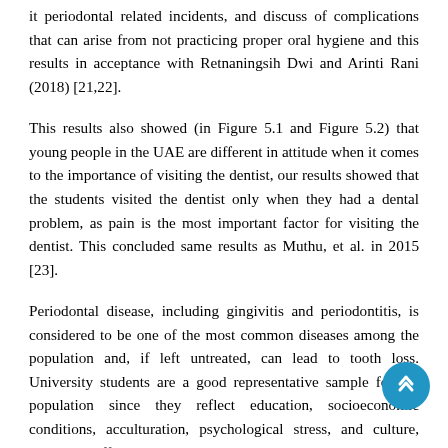it periodontal related incidents, and discuss of complications that can arise from not practicing proper oral hygiene and this results in acceptance with Retnaningsih Dwi and Arinti Rani (2018) [21,22].
This results also showed (in Figure 5.1 and Figure 5.2) that young people in the UAE are different in attitude when it comes to the importance of visiting the dentist, our results showed that the students visited the dentist only when they had a dental problem, as pain is the most important factor for visiting the dentist. This concluded same results as Muthu, et al. in 2015 [23].
Periodontal disease, including gingivitis and periodontitis, is considered to be one of the most common diseases among the population and, if left untreated, can lead to tooth loss. University students are a good representative sample for the population since they reflect education, socioeconomic conditions, acculturation, psychological stress, and culture, which can affect their oral health behavior and status [24,25].